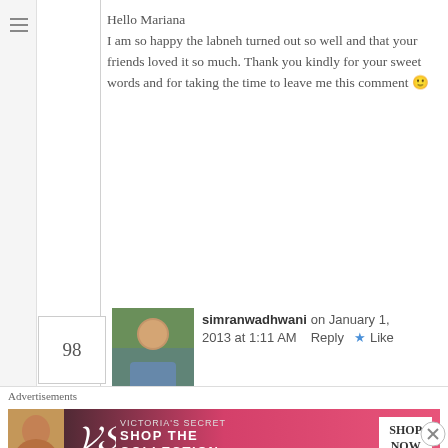Hello Mariana
I am so happy the labneh turned out so well and that your friends loved it so much. Thank you kindly for your sweet words and for taking the time to leave me this comment 🙂
simranwadhwani on January 1, 2013 at 1:11 AM   Reply  ★ Like
Hi, beautiful post. I've grown up in Oman, so eaten labneh a lot. And I LOVE IT! Unfortunately, I haven't come across it here in India yet and haven't eaten it in 2 years! I will definitely he
Advertisements
[Figure (screenshot): Victoria's Secret advertisement banner: SHOP THE COLLECTION / SHOP NOW button]